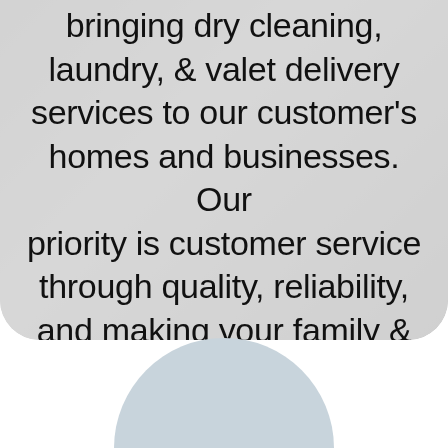bringing dry cleaning, laundry, & valet delivery services to our customer's homes and businesses. Our priority is customer service through quality, reliability, and making your family & professional needs simple.
[Figure (illustration): Light blue-gray semicircle shape at the bottom of the page against white background, suggesting a decorative circular element or photo crop.]